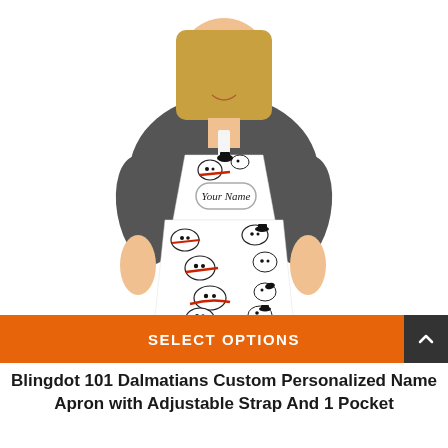[Figure (photo): A young woman with blonde hair wearing a dark grey short-sleeve shirt and a white custom apron featuring a 101 Dalmatians pattern with black and red illustrated dogs. The apron has a decorative badge reading 'Your Name' in script font on the chest area.]
SELECT OPTIONS
Blingdot 101 Dalmatians Custom Personalized Name Apron with Adjustable Strap And 1 Pocket